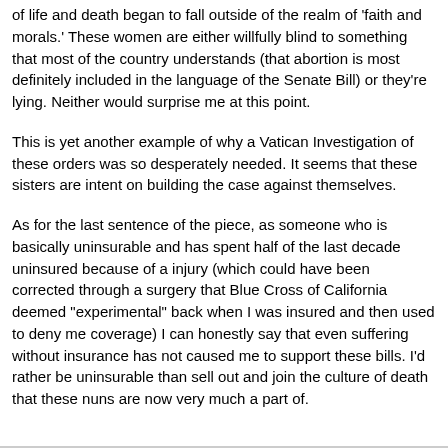of life and death began to fall outside of the realm of 'faith and morals.' These women are either willfully blind to something that most of the country understands (that abortion is most definitely included in the language of the Senate Bill) or they're lying. Neither would surprise me at this point.
This is yet another example of why a Vatican Investigation of these orders was so desperately needed. It seems that these sisters are intent on building the case against themselves.
As for the last sentence of the piece, as someone who is basically uninsurable and has spent half of the last decade uninsured because of a injury (which could have been corrected through a surgery that Blue Cross of California deemed "experimental" back when I was insured and then used to deny me coverage) I can honestly say that even suffering without insurance has not caused me to support these bills. I'd rather be uninsurable than sell out and join the culture of death that these nuns are now very much a part of.